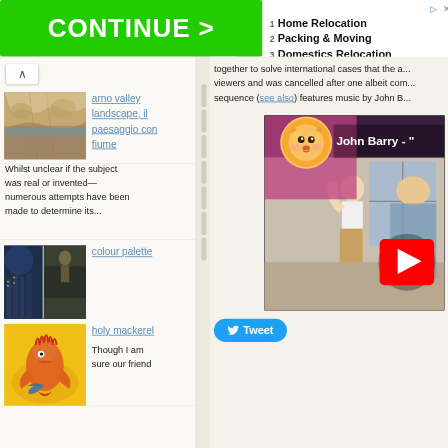[Figure (screenshot): Green CONTINUE button banner ad at top of page]
[Figure (screenshot): Right side advertisement listing: Home Relocation, Packing & Moving, Domestics Relocation]
[Figure (photo): Thumbnail image of arno valley landscape drawing]
arno valley landscape, il paesaggio con fiume
Whilst unclear if the subject was real or invented—numerous attempts have been made to determine its...
together to solve international cases that the a... viewers and was cancelled after one albeit com... sequence (see also) features music by John B...
[Figure (screenshot): YouTube video embed showing John Barry title with movie scene]
[Figure (photo): Colour palette thumbnail - night scene with lights]
colour palette
[Figure (photo): Holy mackerel thumbnail - cartoon fish illustration on yellow background]
holy mackerel
Though I am sure our friend
[Figure (screenshot): Tweet button in Twitter blue]